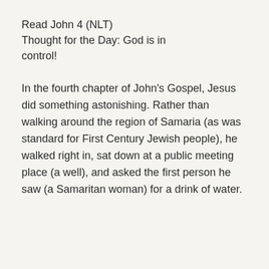Read John 4 (NLT)
Thought for the Day: God is in control!
In the fourth chapter of John's Gospel, Jesus did something astonishing. Rather than walking around the region of Samaria (as was standard for First Century Jewish people), he walked right in, sat down at a public meeting place (a well), and asked the first person he saw (a Samaritan woman) for a drink of water.